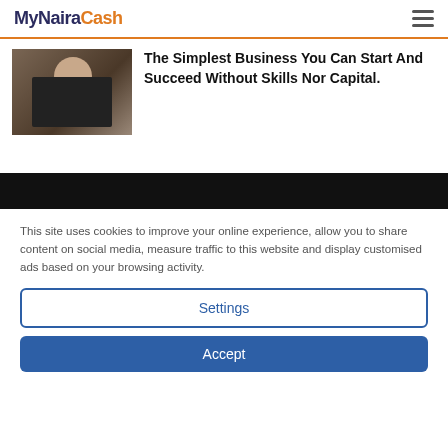MyNairaCash
[Figure (photo): Person sitting at a laptop, thinking with hands clasped]
The Simplest Business You Can Start And Succeed Without Skills Nor Capital.
This site uses cookies to improve your online experience, allow you to share content on social media, measure traffic to this website and display customised ads based on your browsing activity.
Settings
Accept